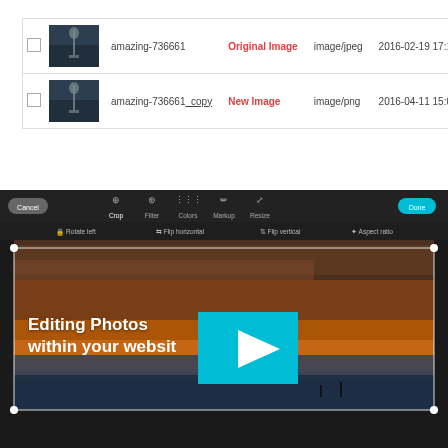|  | Thumbnail | Filename | Status | Type | Date | Size |
| --- | --- | --- | --- | --- | --- | --- |
|  |  | amazing-736661 | Original Image | image/jpeg | 2016-02-19 17:15:32 | 434 KB |
|  |  | amazing-736661_copy | New Image | image/png | 2016-04-11 15:00:40 | 396 KB |
[Figure (screenshot): Video player screenshot showing a photo editing interface with toolbar (Cancel, Crop, Filter, Colors, Markup, Resize, Done buttons), subtoolbar with rotation and flip options, crop overlay on a sunset/ocean photo, and a play button overlay. Text reads 'Editing Photos within your website'.]